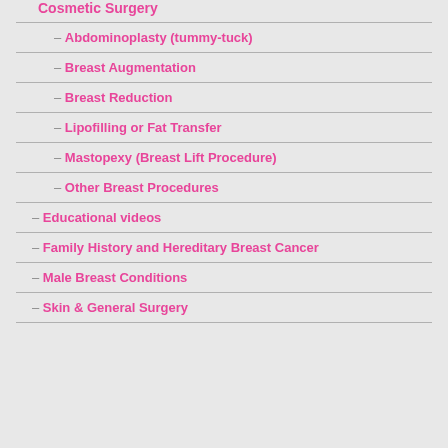Cosmetic Surgery
– Abdominoplasty (tummy-tuck)
– Breast Augmentation
– Breast Reduction
– Lipofilling or Fat Transfer
– Mastopexy (Breast Lift Procedure)
– Other Breast Procedures
– Educational videos
– Family History and Hereditary Breast Cancer
– Male Breast Conditions
– Skin & General Surgery